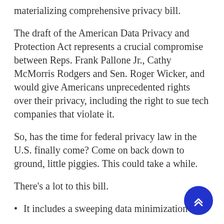materializing comprehensive privacy bill.
The draft of the American Data Privacy and Protection Act represents a crucial compromise between Reps. Frank Pallone Jr., Cathy McMorris Rodgers and Sen. Roger Wicker, and would give Americans unprecedented rights over their privacy, including the right to sue tech companies that violate it.
So, has the time for federal privacy law in the U.S. finally come? Come on back down to ground, little piggies. This could take a while.
There's a lot to this bill.
It includes a sweeping data minimization